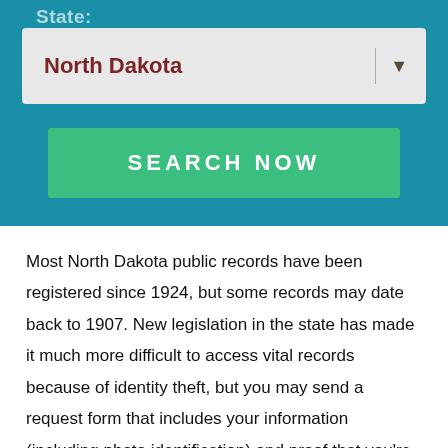State:
[Figure (screenshot): Dropdown selector showing 'North Dakota' selected]
[Figure (screenshot): Green 'SEARCH NOW' button]
Most North Dakota public records have been registered since 1924, but some records may date back to 1907. New legislation in the state has made it much more difficult to access vital records because of identity theft, but you may send a request form that includes your information (including photo identification) and proof that you're related or have some legal interest in the person whose